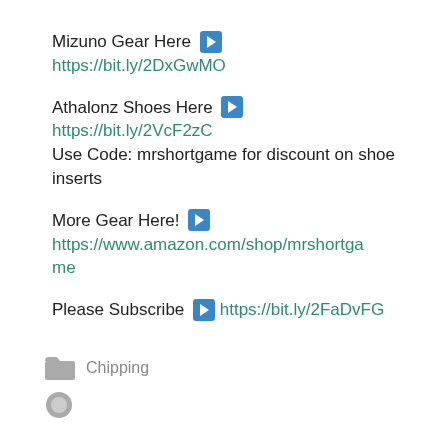Mizuno Gear Here ▶
https://bit.ly/2DxGwMO
Athalonz Shoes Here ▶
https://bit.ly/2VcF2zC
Use Code: mrshortgame for discount on shoe inserts
More Gear Here! ▶
https://www.amazon.com/shop/mrshortgame
Please Subscribe ▶ https://bit.ly/2FaDvFG
Chipping